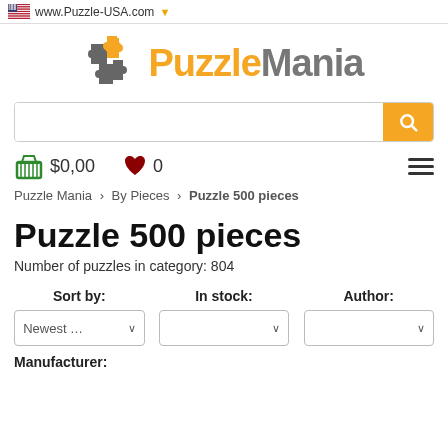www.Puzzle-USA.com
[Figure (logo): PuzzleMania logo with puzzle piece icon, 'Puzzle' in orange and 'Mania' in gray]
Search bar with search button
$0,00   0
Puzzle Mania > By Pieces > Puzzle 500 pieces
Puzzle 500 pieces
Number of puzzles in category: 804
Sort by:   In stock:   Author:
Newest ...
Manufacturer: